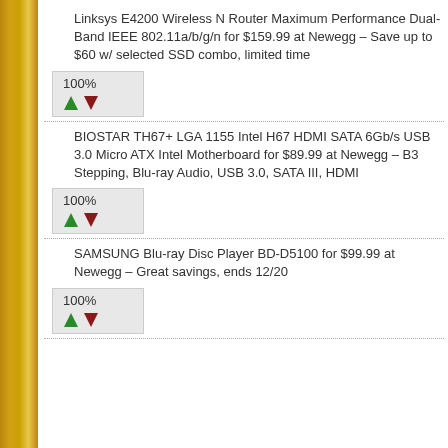Linksys E4200 Wireless N Router Maximum Performance Dual-Band IEEE 802.11a/b/g/n for $159.99 at Newegg – Save up to $60 w/ selected SSD combo, limited time
[Figure (other): Vote widget showing 100% with green up arrow and red down arrow buttons]
BIOSTAR TH67+ LGA 1155 Intel H67 HDMI SATA 6Gb/s USB 3.0 Micro ATX Intel Motherboard for $89.99 at Newegg – B3 Stepping, Blu-ray Audio, USB 3.0, SATA III, HDMI
[Figure (other): Vote widget showing 100% with green up arrow and red down arrow buttons]
SAMSUNG Blu-ray Disc Player BD-D5100 for $99.99 at Newegg – Great savings, ends 12/20
[Figure (other): Vote widget showing 100% with green up arrow and red down arrow buttons]